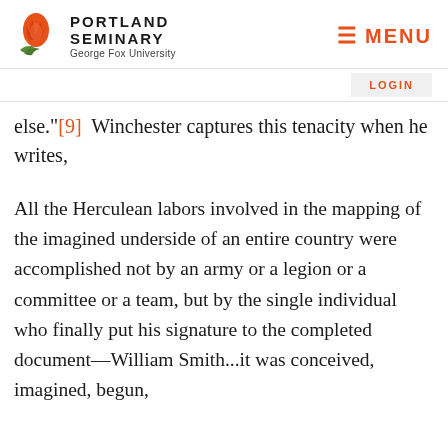PORTLAND SEMINARY George Fox University
else."[9] Winchester captures this tenacity when he writes,
All the Herculean labors involved in the mapping of the imagined underside of an entire country were accomplished not by an army or a legion or a committee or a team, but by the single individual who finally put his signature to the completed document—William Smith...it was conceived, imagined, begun, and...by an obstinate, single-minded, and ultimately...